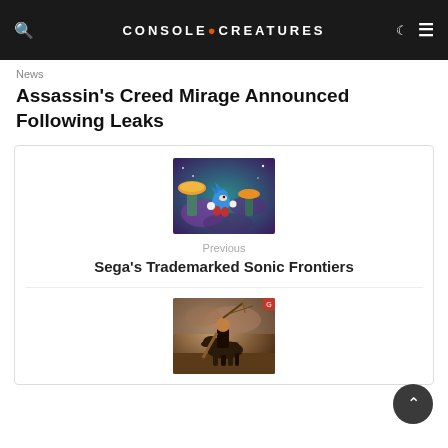CONSOLE CREATURES
News
Assassin's Creed Mirage Announced Following Leaks
[Figure (photo): Thumbnail image for Sonic Frontiers post — colorful game screenshot with blue character and mushroom-like objects]
Previous
Sega's Trademarked Sonic Frontiers
[Figure (photo): Thumbnail image for next article — character on horseback with weapon in a dramatic scene]